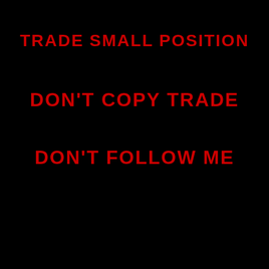TRADE SMALL POSITION
DON'T COPY TRADE
DON'T FOLLOW ME